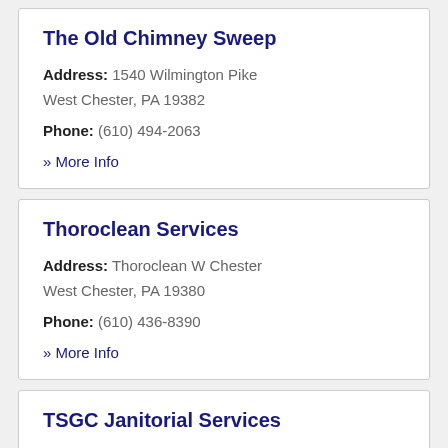The Old Chimney Sweep
Address: 1540 Wilmington Pike West Chester, PA 19382
Phone: (610) 494-2063
» More Info
Thoroclean Services
Address: Thoroclean W Chester West Chester, PA 19380
Phone: (610) 436-8390
» More Info
TSGC Janitorial Services